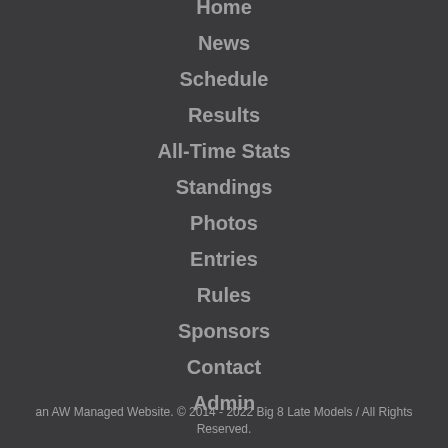Home
News
Schedule
Results
All-Time Stats
Standings
Photos
Entries
Rules
Sponsors
Contact
Admin
an AW Managed Website. © 2014 - 2022 Big 8 Late Models / All Rights Reserved.